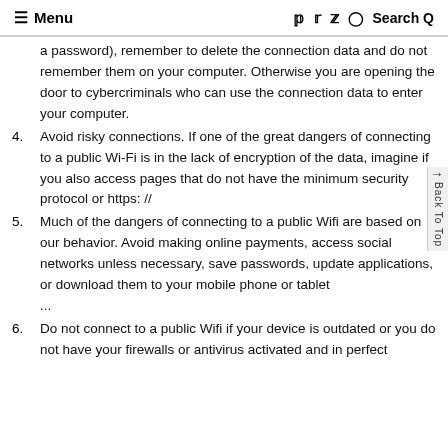≡ Menu    f  y  p  ⊙  Search Q
a password), remember to delete the connection data and do not remember them on your computer. Otherwise you are opening the door to cybercriminals who can use the connection data to enter your computer.
4. Avoid risky connections. If one of the great dangers of connecting to a public Wi-Fi is in the lack of encryption of the data, imagine if you also access pages that do not have the minimum security protocol or https: //
5. Much of the dangers of connecting to a public Wifi are based on our behavior. Avoid making online payments, access social networks unless necessary, save passwords, update applications, or download them to your mobile phone or tablet ...
6. Do not connect to a public Wifi if your device is outdated or you do not have your firewalls or antivirus activated and in perfect